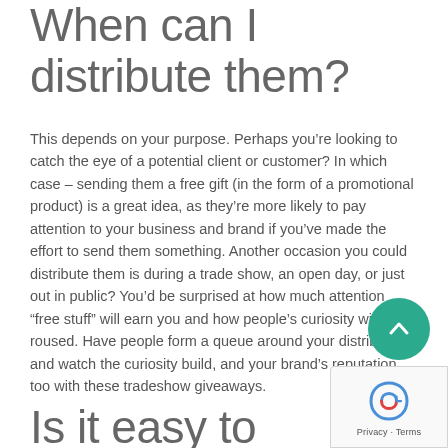When can I distribute them?
This depends on your purpose. Perhaps you’re looking to catch the eye of a potential client or customer? In which case – sending them a free gift (in the form of a promotional product) is a great idea, as they’re more likely to pay attention to your business and brand if you’ve made the effort to send them something. Another occasion you could distribute them is during a trade show, an open day, or just out in public? You’d be surprised at how much attention “free stuff” will earn you and how people’s curiosity will be roused. Have people form a queue around your distributors and watch the curiosity build, and your brand’s reputation too with these tradeshow giveaways.
Is it easy to